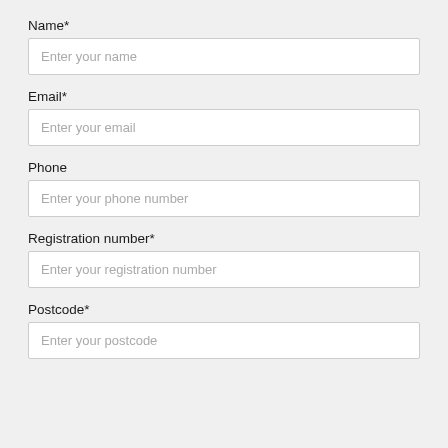Name*
Enter your name
Email*
Enter your email
Phone
Enter your phone number
Registration number*
Enter your registration number
Postcode*
Enter your postcode